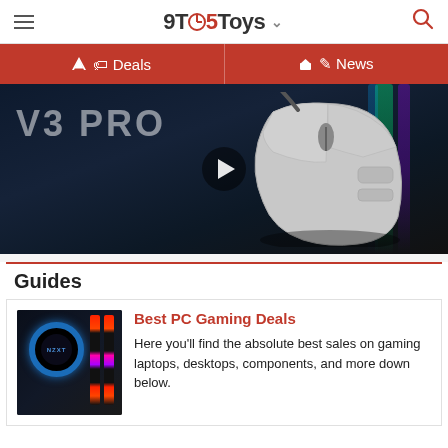9TO5Toys
Deals  News
[Figure (screenshot): Video thumbnail showing a gaming mouse (V3 PRO) on a dark background with play button overlay]
Guides
[Figure (photo): PC gaming setup with NZXT cooler and RGB RAM sticks lighting]
Best PC Gaming Deals
Here you'll find the absolute best sales on gaming laptops, desktops, components, and more down below.